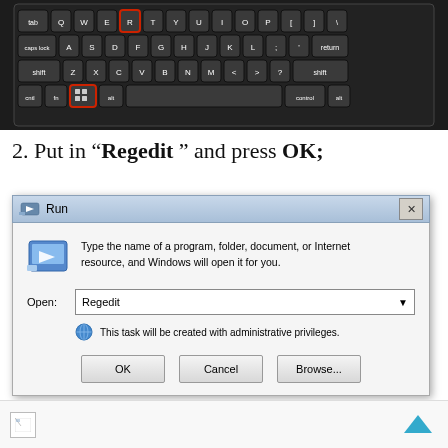[Figure (screenshot): Keyboard image showing highlighted R key and Windows key with red borders]
2. Put in “Regedit ” and press OK;
[Figure (screenshot): Windows Run dialog box with Regedit typed in the Open field, showing OK, Cancel, and Browse buttons]
[Figure (screenshot): Bottom strip with broken image icon and scroll-to-top blue arrow button]